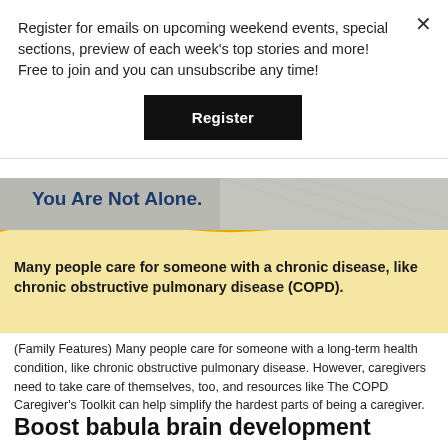Register for emails on upcoming weekend events, special sections, preview of each week's top stories and more! Free to join and you can unsubscribe any time!
Register
[Figure (infographic): Advertisement banner with 'You Are Not Alone.' headline in blue on a grey photo background, with a yellow wave graphic below containing bold text: 'Many people care for someone with a chronic disease, like chronic obstructive pulmonary disease (COPD).']
(Family Features) Many people care for someone with a long-term health condition, like chronic obstructive pulmonary disease. However, caregivers need to take care of themselves, too, and resources like The COPD Caregiver's Toolkit can help simplify the hardest parts of being a caregiver.
Boost babula brain development